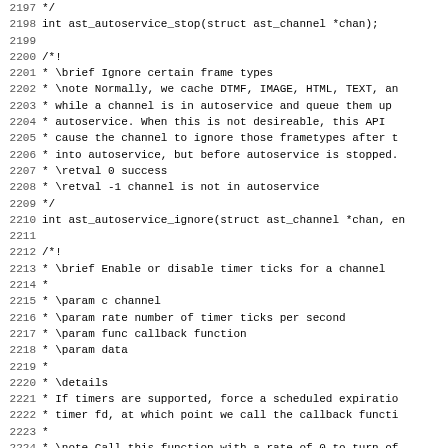2197  */
2198 int ast_autoservice_stop(struct ast_channel *chan);
2199
2200 /*!
2201  * \brief Ignore certain frame types
2202  * \note Normally, we cache DTMF, IMAGE, HTML, TEXT, an
2203  * while a channel is in autoservice and queue them up
2204  * autoservice.  When this is not desireable, this API
2205  * cause the channel to ignore those frametypes after t
2206  * into autoservice, but before autoservice is stopped.
2207  * \retval 0 success
2208  * \retval -1 channel is not in autoservice
2209  */
2210 int ast_autoservice_ignore(struct ast_channel *chan, en
2211
2212 /*!
2213  * \brief Enable or disable timer ticks for a channel
2214  *
2215  * \param c channel
2216  * \param rate number of timer ticks per second
2217  * \param func callback function
2218  * \param data
2219  *
2220  * \details
2221  * If timers are supported, force a scheduled expiratio
2222  * timer fd, at which point we call the callback functi
2223  *
2224  * \note Call this function with a rate of 0 to turn of
2225  *
2226  * \version 1.6.1 changed samples parameter to rate, ad
2227  */
2228 int ast_settimeout(struct ast_channel *c, unsigned int